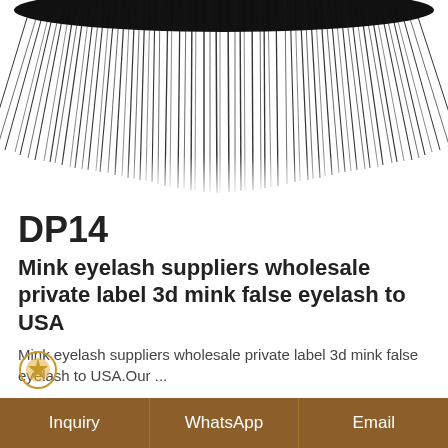[Figure (photo): Close-up photo of 3D mink false eyelashes on white background, showing dramatic voluminous black lash fans spreading outward]
DP14
Mink eyelash suppliers wholesale private label 3d mink false eyelash to USA
Mink eyelash suppliers wholesale private label 3d mink false eyelash to USA.Our ...
More >>
[Figure (logo): Small circular golden icon at bottom left]
Inquiry | WhatsApp | Email